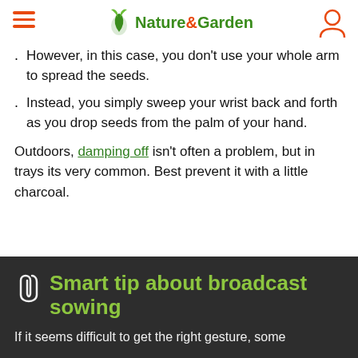Nature & Garden
However, in this case, you don't use your whole arm to spread the seeds.
Instead, you simply sweep your wrist back and forth as you drop seeds from the palm of your hand.
Outdoors, damping off isn't often a problem, but in trays its very common. Best prevent it with a little charcoal.
Smart tip about broadcast sowing
If it seems difficult to get the right gesture, some